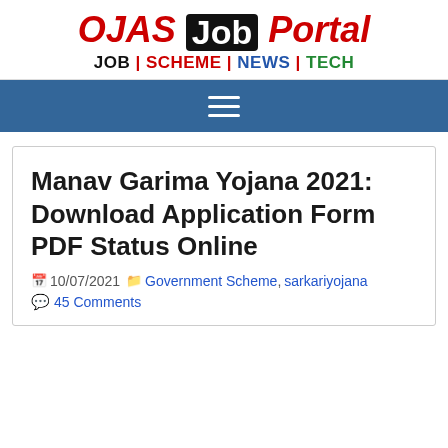OJAS Job Portal — JOB | SCHEME | NEWS | TECH
Manav Garima Yojana 2021: Download Application Form PDF Status Online
10/07/2021   Government Scheme, sarkariyojana   45 Comments